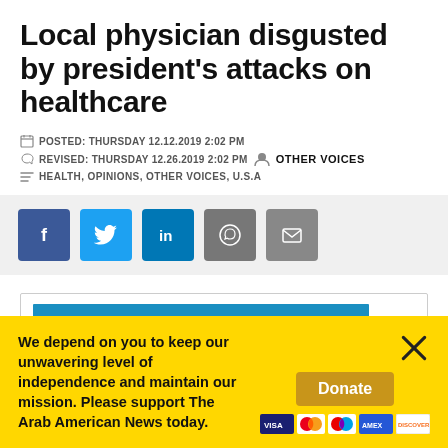Local physician disgusted by president's attacks on healthcare
POSTED: THURSDAY 12.12.2019 2:02 PM
REVISED: THURSDAY 12.26.2019 2:02 PM   OTHER VOICES
HEALTH, OPINIONS, OTHER VOICES, U.S.A
[Figure (other): Social sharing buttons: Facebook, Twitter, LinkedIn, WhatsApp, Email]
[Figure (other): Promo card with a blue progress bar]
We depend on you to keep our unwavering level of independence and maintain our mission. Please support The Arab American News today.